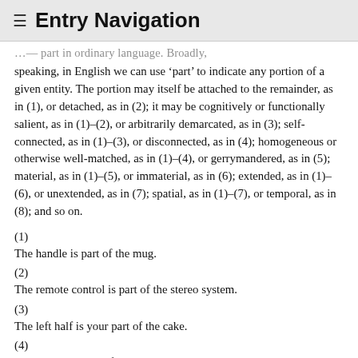≡ Entry Navigation
[truncated top line] …part in ordinary language. Broadly, speaking, in English we can use 'part' to indicate any portion of a given entity. The portion may itself be attached to the remainder, as in (1), or detached, as in (2); it may be cognitively or functionally salient, as in (1)–(2), or arbitrarily demarcated, as in (3); self-connected, as in (1)–(3), or disconnected, as in (4); homogeneous or otherwise well-matched, as in (1)–(4), or gerrymandered, as in (5); material, as in (1)–(5), or immaterial, as in (6); extended, as in (1)–(6), or unextended, as in (7); spatial, as in (1)–(7), or temporal, as in (8); and so on.
(1)
The handle is part of the mug.
(2)
The remote control is part of the stereo system.
(3)
The left half is your part of the cake.
(4)
The cutlery is part of the tableware.
(5)